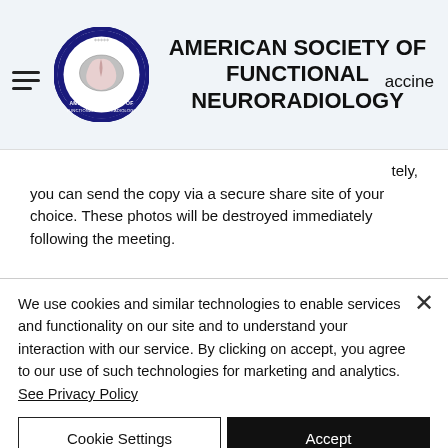AMERICAN SOCIETY OF FUNCTIONAL NEURORADIOLOGY
tely, you can send the copy via a secure share site of your choice. These photos will be destroyed immediately following the meeting.
Negative COVID Test
Email a pdf documenting your negative COVID test dated Sept 15th or later prior to the meeting to
We use cookies and similar technologies to enable services and functionality on our site and to understand your interaction with our service. By clicking on accept, you agree to our use of such technologies for marketing and analytics. See Privacy Policy
Cookie Settings
Accept